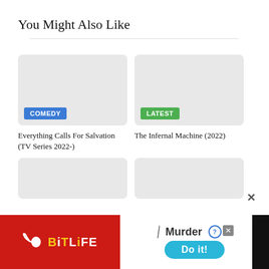You Might Also Like
[Figure (illustration): Thumbnail card with light gray background and blue COMEDY badge]
Everything Calls For Salvation (TV Series 2022-)
[Figure (illustration): Thumbnail card with light gray background and green LATEST badge]
The Infernal Machine (2022)
[Figure (illustration): Thumbnail card with light gray background, bottom row left]
[Figure (illustration): Thumbnail card with light gray background, bottom row right]
[Figure (illustration): BitLife advertisement banner with red background, Murder Do it! call to action]